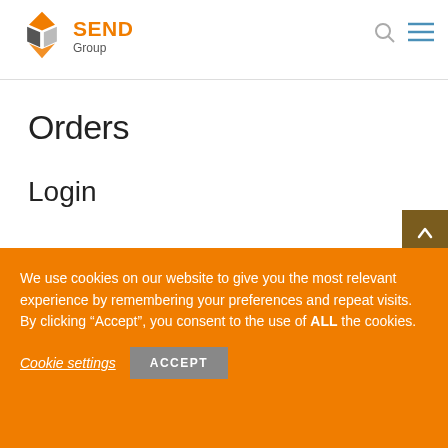[Figure (logo): SEND Group logo with diamond shape icon and orange SEND text with grey Group subtext]
Orders
Login
We use cookies on our website to give you the most relevant experience by remembering your preferences and repeat visits. By clicking “Accept”, you consent to the use of ALL the cookies.
Cookie settings
ACCEPT